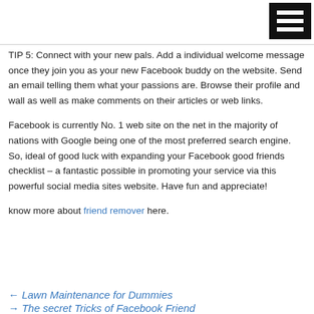[Figure (other): Hamburger menu icon — black rectangle with three white horizontal bars]
TIP 5: Connect with your new pals. Add a individual welcome message once they join you as your new Facebook buddy on the website. Send an email telling them what your passions are. Browse their profile and wall as well as make comments on their articles or web links.
Facebook is currently No. 1 web site on the net in the majority of nations with Google being one of the most preferred search engine. So, ideal of good luck with expanding your Facebook good friends checklist – a fantastic possible in promoting your service via this powerful social media sites website. Have fun and appreciate!
know more about friend remover here.
← Lawn Maintenance for Dummies
→ The secret Tricks of Facebook Friends